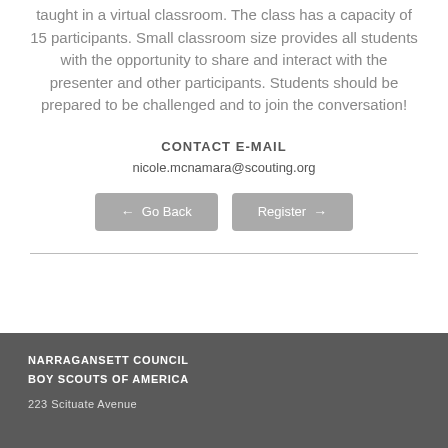taught in a virtual classroom. The class has a capacity of 15 participants. Small classroom size provides all students with the opportunity to share and interact with the presenter and other participants. Students should be prepared to be challenged and to join the conversation!
CONTACT E-MAIL
nicole.mcnamara@scouting.org
Go Back | Register
NARRAGANSETT COUNCIL
BOY SCOUTS OF AMERICA
223 Scituate Avenue